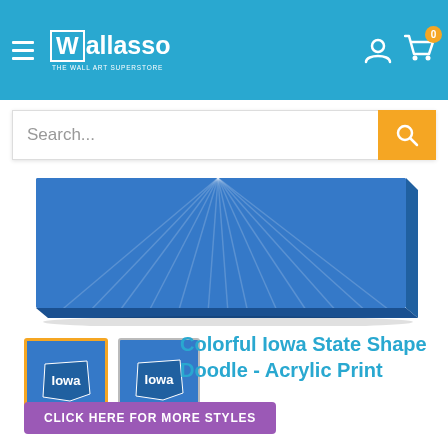Wallasso - The Wall Art Superstore
[Figure (screenshot): Website screenshot showing Wallasso e-commerce store with navigation header (hamburger menu, logo, account icon, cart with 0 items), search bar, product image of a blue canvas acrylic print with Iowa state shape doodle, two product thumbnails, product title 'Colorful Iowa State Shape Doodle - Acrylic Print', and a purple CTA button 'CLICK HERE FOR MORE STYLES']